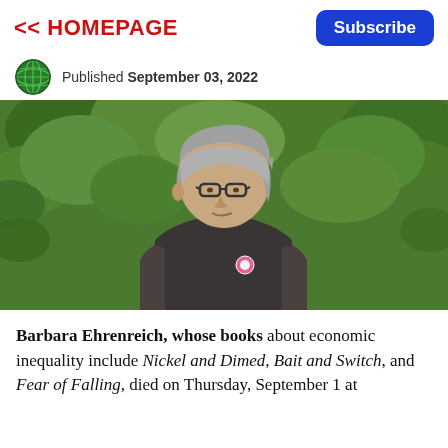<< HOMEPAGE | Subscribe
Published September 03, 2022
[Figure (photo): Photo of Barbara Ehrenreich, an older woman with short gray hair and glasses, wearing a dark top with a pink button, standing outdoors in front of green foliage.]
Barbara Ehrenreich, whose books about economic inequality include Nickel and Dimed, Bait and Switch, and Fear of Falling, died on Thursday, September 1 at